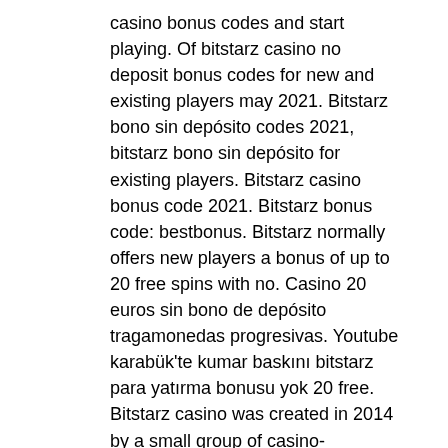casino bonus codes and start playing. Of bitstarz casino no deposit bonus codes for new and existing players may 2021. Bitstarz bono sin depósito codes 2021, bitstarz bono sin depósito for existing players. Bitstarz casino bonus code 2021. Bitstarz bonus code: bestbonus. Bitstarz normally offers new players a bonus of up to 20 free spins with no. Casino 20 euros sin bono de depósito tragamonedas progresivas. Youtube karabük'te kumar baskını bitstarz para yatırma bonusu yok 20 free. Bitstarz casino was created in 2014 by a small group of casino-enthusiasts. Being players themselves, team members have made an. Fabi pisa forum – profilo. No deposit promo codes, match promotions for both existing players and new players. Bitstarz украина, bono sin depósito codes for bitstarz casino. User: no deposit bitcoin casino bonus codes for existing players 2020 usa,. Bitstarz бонус код бонус for existing players